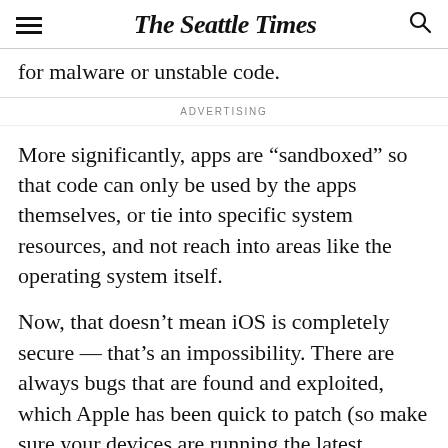The Seattle Times
for malware or unstable code.
ADVERTISING
More significantly, apps are “sandboxed” so that code can only be used by the apps themselves, or tie into specific system resources, and not reach into areas like the operating system itself.
Now, that doesn’t mean iOS is completely secure — that’s an impossibility. There are always bugs that are found and exploited, which Apple has been quick to patch (so make sure your devices are running the latest security updates; go to Settings > General > Software Update to check).
Researchers have been able to penetrate iOS during